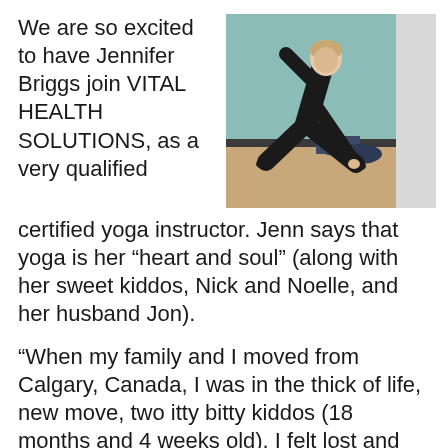We are so excited to have Jennifer Briggs join VITAL HEALTH SOLUTIONS, as a very qualified certified yoga instructor. Jenn says that yoga is her “heart and soul” (along with her sweet kiddos, Nick and Noelle, and her husband Jon).
[Figure (photo): A woman in black athletic clothing performing a yoga pose (side stretch/lunge) on a wooden floor against a light teal wall, with a dark blue yoga bolster in the background.]
“When my family and I moved from Calgary, Canada, I was in the thick of life, new move, two itty bitty kiddos (18 months and 4 weeks old). I felt lost and needed inspiration. I jumped back into practicing yoga. The rest seems to be history!”